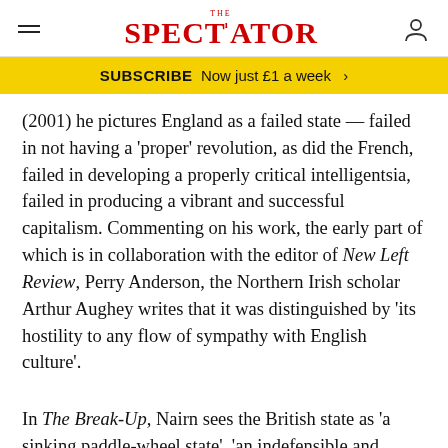THE SPECTATOR
SUBSCRIBE  Now just £1 a week  >
(2001) he pictures England as a failed state — failed in not having a ‘proper’ revolution, as did the French, failed in developing a properly critical intelligentsia, failed in producing a vibrant and successful capitalism. Commenting on his work, the early part of which is in collaboration with the editor of New Left Review, Perry Anderson, the Northern Irish scholar Arthur Aughey writes that it was distinguished by ‘its hostility to any flow of sympathy with English culture’.
In The Break-Up, Nairn sees the British state as ‘a sinking paddle-wheel state’, ‘an indefensible and